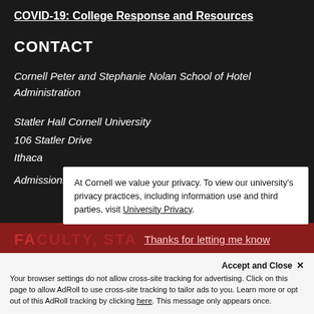COVID-19: College Response and Resources
CONTACT
Cornell Peter and Stephanie Nolan School of Hotel Administration
Statler Hall Cornell University
106 Statler Drive
Ithaca
Admissions: 607-255-4220
At Cornell we value your privacy. To view our university's privacy practices, including information use and third parties, visit University Privacy.
FACULTY, STA
Thanks for letting me know
Accept and Close ✕
Your browser settings do not allow cross-site tracking for advertising. Click on this page to allow AdRoll to use cross-site tracking to tailor ads to you. Learn more or opt out of this AdRoll tracking by clicking here. This message only appears once.